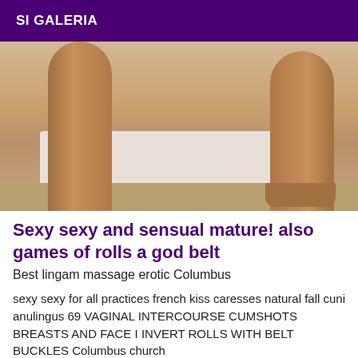SI GALERIA
[Figure (photo): Photo showing lower legs of a person standing in front of a bed with white bedding on a carpeted floor]
Sexy sexy and sensual mature! also games of rolls a god belt
Best lingam massage erotic Columbus
sexy sexy for all practices french kiss caresses natural fall cuni anulingus 69 VAGINAL INTERCOURSE CUMSHOTS BREASTS AND FACE I INVERT ROLLS WITH BELT BUCKLES Columbus church
Online